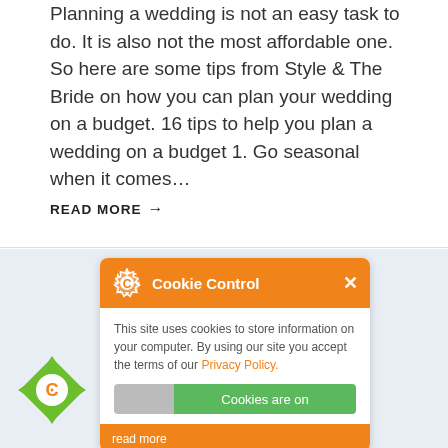Planning a wedding is not an easy task to do. It is also not the most affordable one. So here are some tips from Style & The Bride on how you can plan your wedding on a budget. 16 tips to help you plan a wedding on a budget 1. Go seasonal when it comes…
READ MORE →
[Figure (screenshot): Cookie Control popup overlay with orange header, gear/cookie icon, close button (X), body text about cookies, toggle switch showing 'Cookies are on', and orange 'read more' footer. A green diamond-shaped cookie icon appears at bottom left. Background shows a partial image of a groom figure on a light blue-grey background.]